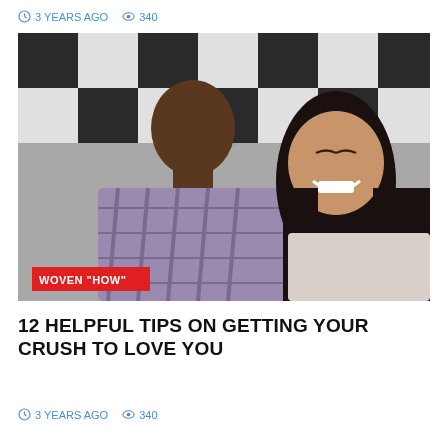3 YEARS AGO  340
[Figure (photo): A smiling couple sitting on checkered steps; a man in a plaid shirt looks at a laughing woman with long dark hair. Red label overlay reads WOVEN "HOW"]
12 HELPFUL TIPS ON GETTING YOUR CRUSH TO LOVE YOU
3 YEARS AGO  340